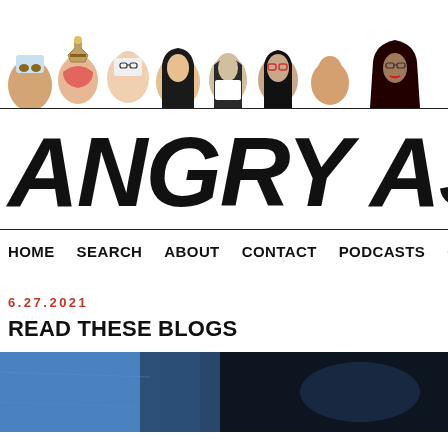[Figure (illustration): Header illustration showing a row of diverse illustrated portrait faces/avatars of various Asian people, cropped at the top of the page]
ANGRY ASIAN
HOME  SEARCH  ABOUT  CONTACT  PODCASTS  GA
6.27.2021
READ THESE BLOGS
[Figure (photo): A dark photograph partially visible at the bottom of the page, showing what appears to be a blue/teal object on the left and a dark scene on the right]